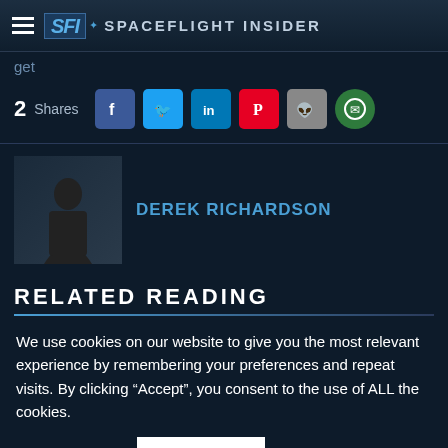Spaceflight Insider
get
2 Shares
[Figure (photo): Author photo of Derek Richardson]
DEREK RICHARDSON
RELATED READING
We use cookies on our website to give you the most relevant experience by remembering your preferences and repeat visits. By clicking “Accept”, you consent to the use of ALL the cookies.
Privacy Policy
ACCEPT